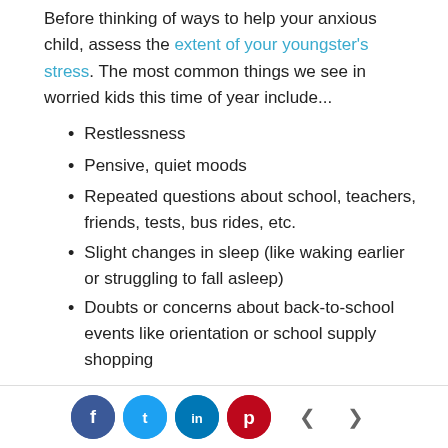Before thinking of ways to help your anxious child, assess the extent of your youngster's stress. The most common things we see in worried kids this time of year include...
Restlessness
Pensive, quiet moods
Repeated questions about school, teachers, friends, tests, bus rides, etc.
Slight changes in sleep (like waking earlier or struggling to fall asleep)
Doubts or concerns about back-to-school events like orientation or school supply shopping
Social share buttons: Facebook, Twitter, LinkedIn, Pinterest; Navigation: previous, next